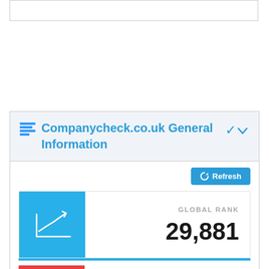Companycheck.co.uk General Information
GLOBAL RANK
29,881